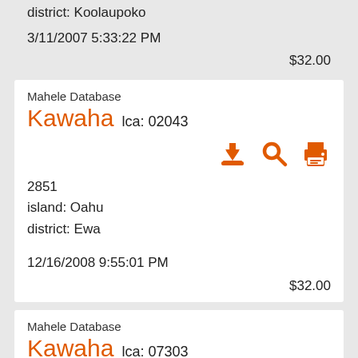district: Koolaupoko
3/11/2007 5:33:22 PM
$32.00
Mahele Database
Kawaha  lca: 02043
[Figure (infographic): Three orange icons: download (arrow into tray), search (magnifying glass), print (printer)]
2851
island: Oahu
district: Ewa
12/16/2008 9:55:01 PM
$32.00
Mahele Database
Kawaha  lca: 07303
[Figure (infographic): Three orange icons: download (arrow into tray), search (magnifying glass), open book, print (printer)]